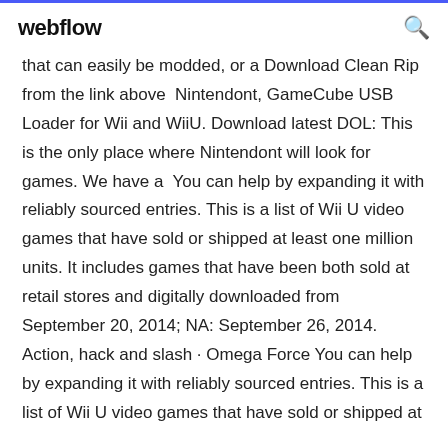webflow
that can easily be modded, or a Download Clean Rip from the link above  Nintendont, GameCube USB Loader for Wii and WiiU. Download latest DOL: This is the only place where Nintendont will look for games. We have a  You can help by expanding it with reliably sourced entries. This is a list of Wii U video games that have sold or shipped at least one million units. It includes games that have been both sold at retail stores and digitally downloaded from September 20, 2014; NA: September 26, 2014. Action, hack and slash · Omega Force You can help by expanding it with reliably sourced entries. This is a list of Wii U video games that have sold or shipped at